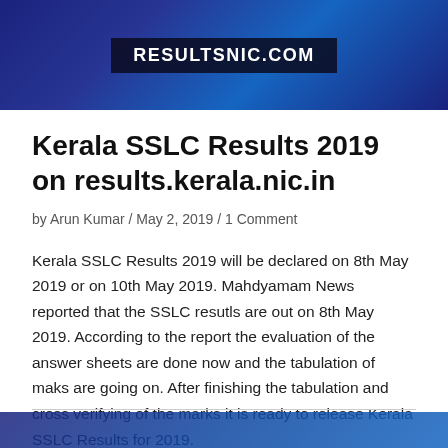[Figure (photo): Dark blue banner with bokeh background and centered text label RESULTSNIC.COM in white bold letters on dark overlay]
Kerala SSLC Results 2019 on results.kerala.nic.in
by Arun Kumar / May 2, 2019 / 1 Comment
Kerala SSLC Results 2019 will be declared on 8th May 2019 or on 10th May 2019. Mahdyamam News reported that the SSLC resutls are out on 8th May 2019. According to the report the evaluation of the answer sheets are done now and the tabulation of maks are going on. After finishing the tabulation and cross verifying of the marks it is ready to release Kerala SSLC Results for 2019.